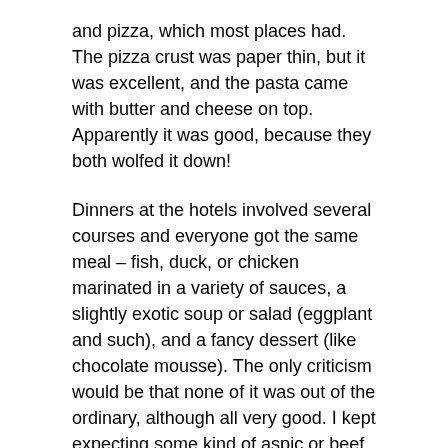and pizza, which most places had. The pizza crust was paper thin, but it was excellent, and the pasta came with butter and cheese on top. Apparently it was good, because they both wolfed it down!
Dinners at the hotels involved several courses and everyone got the same meal – fish, duck, or chicken marinated in a variety of sauces, a slightly exotic soup or salad (eggplant and such), and a fancy dessert (like chocolate mousse). The only criticism would be that none of it was out of the ordinary, although all very good. I kept expecting some kind of aspic or beef bourguignon or some dish that Julia Child would have whipped up in her French kitchen, but that did not happen. (Probably a good thing – does anyone really like aspic?)
But for those who wanted a meal the locals would order, the optional dinners offered by